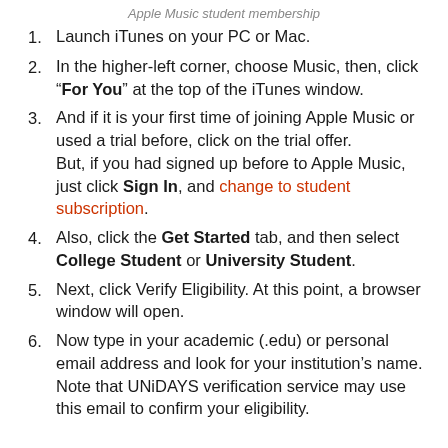Apple Music student membership
Launch iTunes on your PC or Mac.
In the higher-left corner, choose Music, then, click "For You" at the top of the iTunes window.
And if it is your first time of joining Apple Music or used a trial before, click on the trial offer. But, if you had signed up before to Apple Music, just click Sign In, and change to student subscription.
Also, click the Get Started tab, and then select College Student or University Student.
Next, click Verify Eligibility. At this point, a browser window will open.
Now type in your academic (.edu) or personal email address and look for your institution's name. Note that UNiDAYS verification service may use this email to confirm your eligibility.